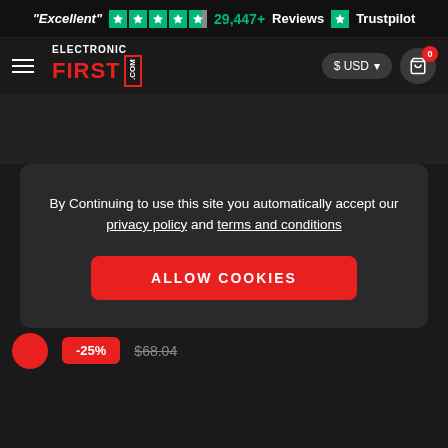"Excellent" ★★★★½ 29,447+ Reviews ★ Trustpilot
[Figure (logo): Electronic First .com logo with hamburger menu, USD currency selector, and cart icon with 0 badge]
By Continuing to use this site you automatically accept our privacy policy and terms and conditions
ALLOW COOKIES
-25% $68.04